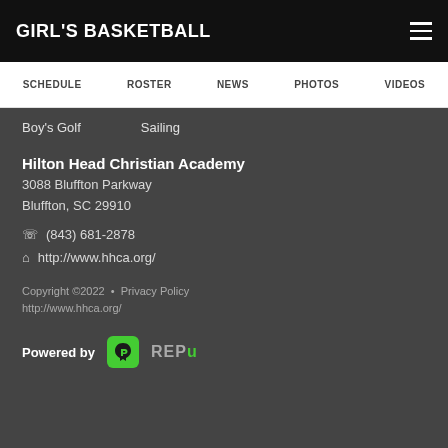GIRL'S BASKETBALL
SCHEDULE   ROSTER   NEWS   PHOTOS   VIDEOS
Boy's Golf
Sailing
Hilton Head Christian Academy
3088 Bluffton Parkway
Bluffton, SC 29910
(843) 681-2878
http://www.hhca.org/
Copyright ©2022  •  Privacy Policy
http://www.hhca.org/
Powered by REPu